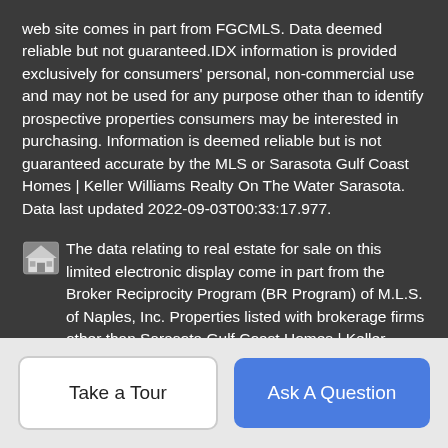web site comes in part from FGCMLS. Data deemed reliable but not guaranteed.IDX information is provided exclusively for consumers' personal, non-commercial use and may not be used for any purpose other than to identify prospective properties consumers may be interested in purchasing. Information is deemed reliable but is not guaranteed accurate by the MLS or Sarasota Gulf Coast Homes | Keller Williams Realty On The Water Sarasota. Data last updated 2022-09-03T00:33:17.977.
The data relating to real estate for sale on this limited electronic display come in part from the Broker Reciprocity Program (BR Program) of M.L.S. of Naples, Inc. Properties listed with brokerage firms other than Sarasota Gulf Coast Homes | Keller Williams Realty On The Water Sarasota are marked with the BR Program Icon or the BR House Icon and detailed information about them includes the name of the Listing Brokers. The properties displayed may not be all the properties available through the BR Program. The accuracy of this information is not
Take a Tour
Ask A Question